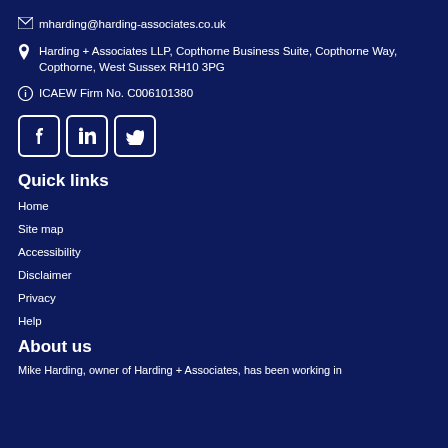mharding@harding-associates.co.uk
Harding + Associates LLP, Copthorne Business Suite, Copthorne Way, Copthorne, West Sussex RH10 3PG
ICAEW Firm No. C006101380
[Figure (other): Social media icons: Facebook, LinkedIn, Twitter]
Quick links
Home
Site map
Accessibility
Disclaimer
Privacy
Help
About us
Mike Harding, owner of Harding + Associates, has been working in